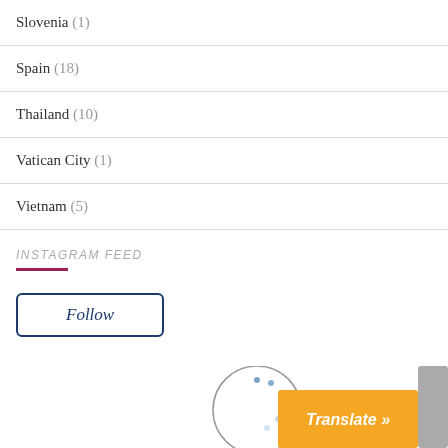Slovenia (1)
Spain (18)
Thailand (10)
Vatican City (1)
Vietnam (5)
INSTAGRAM FEED
Follow
[Figure (other): Loading spinner circle with dots, and a Translate button with orange background in the bottom right corner]